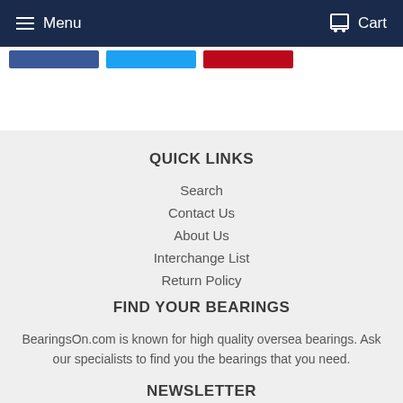Menu | Cart
QUICK LINKS
Search
Contact Us
About Us
Interchange List
Return Policy
FIND YOUR BEARINGS
BearingsOn.com is known for high quality oversea bearings. Ask our specialists to find you the bearings that you need.
NEWSLETTER